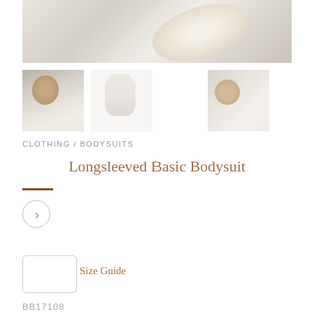[Figure (photo): Close-up hero image of a white/cream fabric or baby item on a soft surface]
[Figure (photo): Thumbnail: baby lying on cream blanket looking up]
[Figure (photo): Thumbnail: white long-sleeved bodysuit product shot on white background]
[Figure (photo): Thumbnail: baby lying on cream blanket]
CLOTHING / BODYSUITS
Longsleeved Basic Bodysuit
Size Guide
BB17108